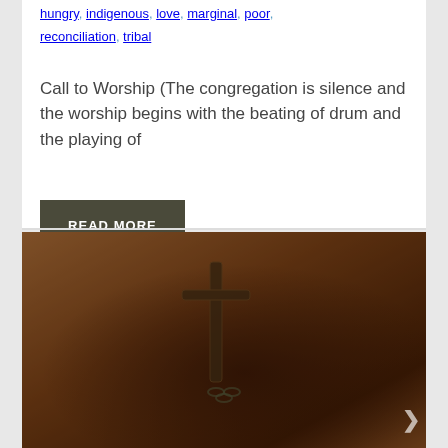hungry, indigenous, love, marginal, poor,
reconciliation, tribal
Call to Worship (The congregation is silence and the worship begins with the beating of drum and the playing of
READ MORE
[Figure (photo): A close-up photograph of what appears to be an ornate metal cross or crucifix with a chain, resting on a wooden surface. The image has warm brown and amber tones with a shallow depth of field.]